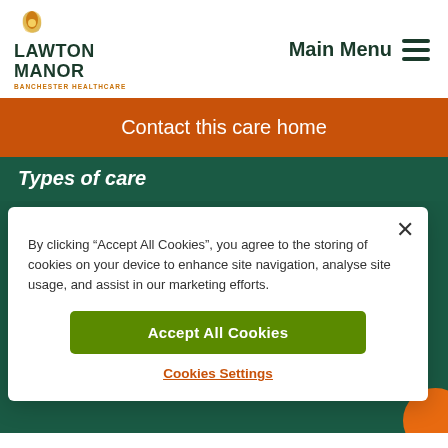[Figure (logo): Lawton Manor logo with leaf/flower icon, text LAWTON MANOR in dark green, and BANCHESTER HEALTHCARE in orange below]
Main Menu
Contact this care home
Types of care
By clicking “Accept All Cookies”, you agree to the storing of cookies on your device to enhance site navigation, analyse site usage, and assist in our marketing efforts.
Accept All Cookies
Cookies Settings